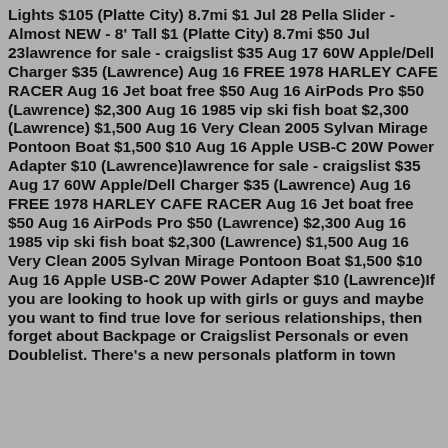Lights $105 (Platte City) 8.7mi $1 Jul 28 Pella Slider - Almost NEW - 8' Tall $1 (Platte City) 8.7mi $50 Jul 23lawrence for sale - craigslist $35 Aug 17 60W Apple/Dell Charger $35 (Lawrence) Aug 16 FREE 1978 HARLEY CAFE RACER Aug 16 Jet boat free $50 Aug 16 AirPods Pro $50 (Lawrence) $2,300 Aug 16 1985 vip ski fish boat $2,300 (Lawrence) $1,500 Aug 16 Very Clean 2005 Sylvan Mirage Pontoon Boat $1,500 $10 Aug 16 Apple USB-C 20W Power Adapter $10 (Lawrence)lawrence for sale - craigslist $35 Aug 17 60W Apple/Dell Charger $35 (Lawrence) Aug 16 FREE 1978 HARLEY CAFE RACER Aug 16 Jet boat free $50 Aug 16 AirPods Pro $50 (Lawrence) $2,300 Aug 16 1985 vip ski fish boat $2,300 (Lawrence) $1,500 Aug 16 Very Clean 2005 Sylvan Mirage Pontoon Boat $1,500 $10 Aug 16 Apple USB-C 20W Power Adapter $10 (Lawrence)If you are looking to hook up with girls or guys and maybe you want to find true love for serious relationships, then forget about Backpage or Craigslist Personals or even Doublelist. There's a new personals platform in town